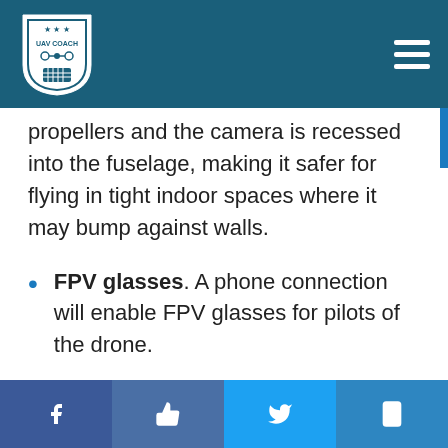UAV Coach
propellers and the camera is recessed into the fuselage, making it safer for flying in tight indoor spaces where it may bump against walls.
FPV glasses. A phone connection will enable FPV glasses for pilots of the drone.
Electronic Image Stabilization (EIS). The drone will come with DJI’s EIS technology, which helps make footage appear smooth even when it’s captured while the drone is moving quickly.